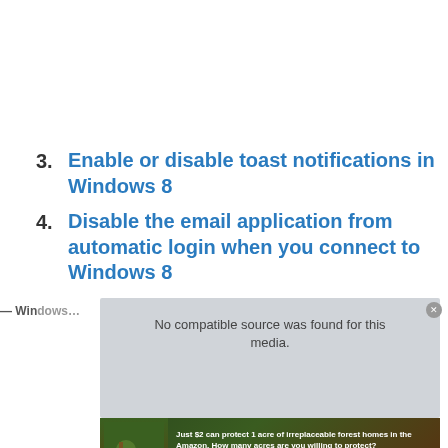3. Enable or disable toast notifications in Windows 8
4. Disable the email application from automatic login when you connect to Windows 8
[Figure (screenshot): Overlapping browser/video player area showing 'No compatible source was found for this media.' message, an advertisement banner for Amazon forest protection reading 'Just $2 can protect 1 acre of irreplaceable forest homes in the Amazon. How many acres are you willing to protect?' with a 'PROTECT FORESTS NOW' button, and partially visible text 'DISABLE NOTIFICATIONS' and 'GUIDE' below.]